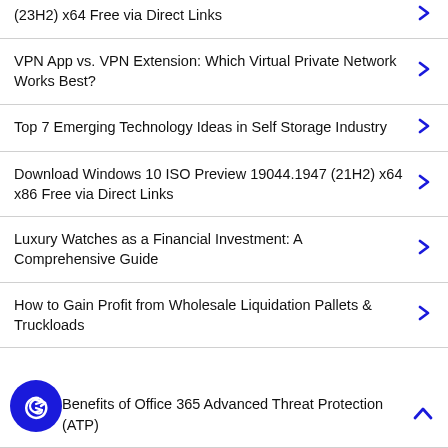(23H2) x64 Free via Direct Links
VPN App vs. VPN Extension: Which Virtual Private Network Works Best?
Top 7 Emerging Technology Ideas in Self Storage Industry
Download Windows 10 ISO Preview 19044.1947 (21H2) x64 x86 Free via Direct Links
Luxury Watches as a Financial Investment: A Comprehensive Guide
How to Gain Profit from Wholesale Liquidation Pallets & Truckloads
Benefits of Office 365 Advanced Threat Protection (ATP)